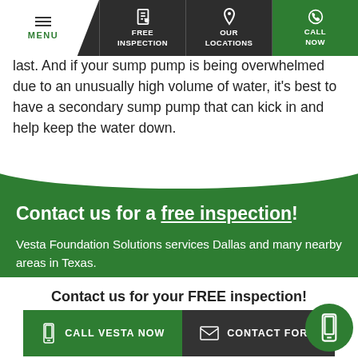MENU | FREE INSPECTION | OUR LOCATIONS | CALL NOW
last. And if your sump pump is being overwhelmed due to an unusually high volume of water, it's best to have a secondary sump pump that can kick in and help keep the water down.
Contact us for a free inspection!
Vesta Foundation Solutions services Dallas and many nearby areas in Texas.
Contact us for your FREE inspection!
CALL VESTA NOW | CONTACT FORM